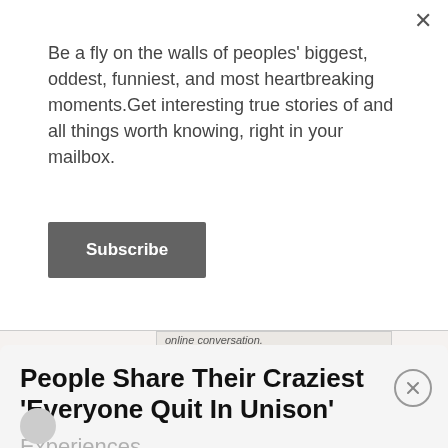Be a fly on the walls of peoples' biggest, oddest, funniest, and most heartbreaking moments.Get interesting true stories of and all things worth knowing, right in your mailbox.
[Figure (screenshot): Subscribe button (dark grey rectangular button with white bold text 'Subscribe')]
[Figure (screenshot): Advertisement widget showing partial text 'online conversation.', a 'Learn more' button, and the OpenWeb logo with sunburst icon]
AdChoices  Sponsored
People Share Their Craziest 'Everyone Quit In Unison'
Experiences